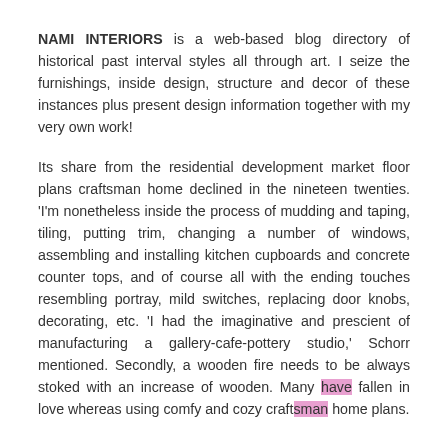NAMI INTERIORS is a web-based blog directory of historical past interval styles all through art. I seize the furnishings, inside design, structure and decor of these instances plus present design information together with my very own work!
Its share from the residential development market floor plans craftsman home declined in the nineteen twenties. 'I'm nonetheless inside the process of mudding and taping, tiling, putting trim, changing a number of windows, assembling and installing kitchen cupboards and concrete counter tops, and of course all with the ending touches resembling portray, mild switches, replacing door knobs, decorating, etc. 'I had the imaginative and prescient of manufacturing a gallery-cafe-pottery studio,' Schorr mentioned. Secondly, a wooden fire needs to be always stoked with an increase of wooden. Many have fallen in love whereas using comfy and cozy craftsman home plans.